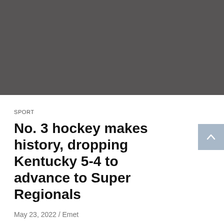[Figure (photo): Dark gray/charcoal rectangular image placeholder occupying the top portion of the page]
SPORT
No. 3 hockey makes history, dropping Kentucky 5-4 to advance to Super Regionals
May 23, 2022 / Emet
4